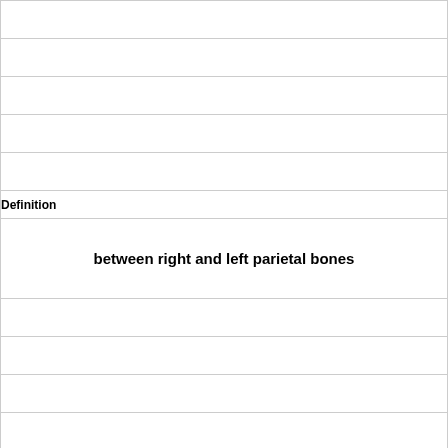|  |
|  |
|  |
|  |
|  |
|  |
|  |
| Definition |  |
| between right and left parietal bones |
|  |
|  |
|  |
|  |
|  |
|  |
|  |
| Term |  |
| Lambdoidal |